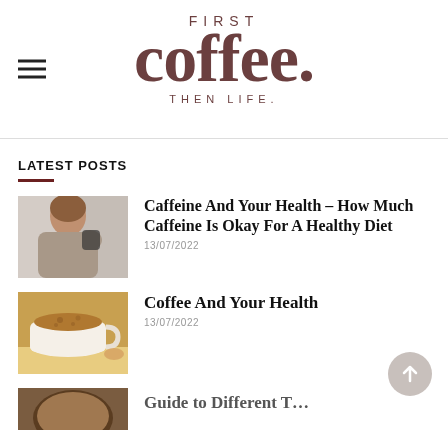FIRST coffee. THEN LIFE.
LATEST POSTS
[Figure (photo): Person holding a coffee cup, seen from behind/side, wearing grey sweater]
Caffeine And Your Health – How Much Caffeine Is Okay For A Healthy Diet
13/07/2022
[Figure (photo): Close-up of a white coffee cup with frothy coffee and cookies/biscuits beside it]
Coffee And Your Health
13/07/2022
[Figure (photo): Partial thumbnail of a third post, partially cut off at bottom of page]